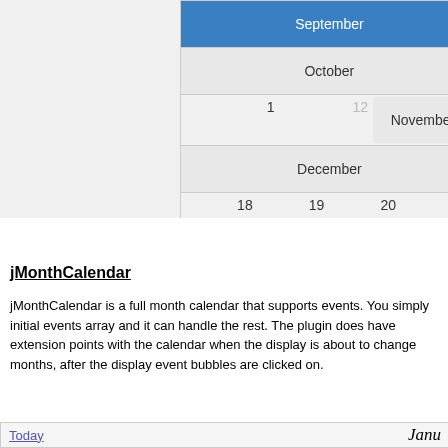[Figure (screenshot): Top portion of a calendar widget showing months September through December with date numbers across two sets of columns. Blue highlighted cell shows September month label.]
jMonthCalendar
jMonthCalendar is a full month calendar that supports events. You simply initial events array and it can handle the rest. The plugin does have extension points with the calendar when the display is about to change months, after the display event bubbles are clicked on.
[Figure (screenshot): Bottom calendar widget showing January month with Today link, day headers Monday, Tuesday, Wednesday, and date cells showing 26, 27, 28 in first row and 2, 3, 4 in second row.]